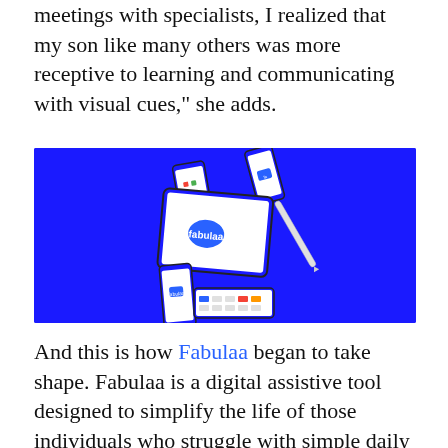meetings with specialists, I realized that my son like many others was more receptive to learning and communicating with visual cues," she adds.
[Figure (photo): Multiple Apple devices (iPads and iPhones) floating on a bright blue background, each displaying the Fabulaa app interface with the Fabulaa logo visible on some screens. A stylus/Apple Pencil is also visible among the devices.]
And this is how Fabulaa began to take shape. Fabulaa is a digital assistive tool designed to simplify the life of those individuals who struggle with simple daily